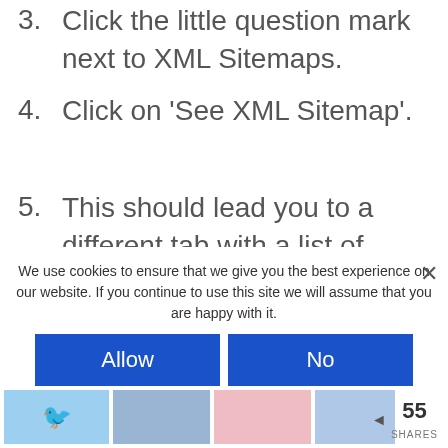3. Click the little question mark next to XML Sitemaps.
4. Click on ‘See XML Sitemap’.
5. This should lead you to a different tab with a list of pages that have been picked up.
6. Copy the url on this tab.
7. Now log in to your Google search console account.
8. On the left of the GSC account, click
We use cookies to ensure that we give you the best experience on our website. If you continue to use this site we will assume that you are happy with it.